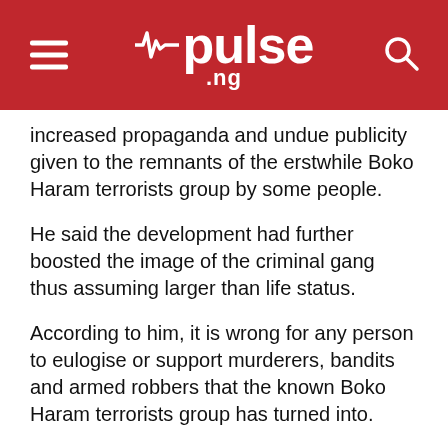pulse .ng
increased propaganda and undue publicity given to the remnants of the erstwhile Boko Haram terrorists group by some people.
He said the development had further boosted the image of the criminal gang thus assuming larger than life status.
According to him, it is wrong for any person to eulogise or support murderers, bandits and armed robbers that the known Boko Haram terrorists group has turned into.
“Consequently, referring to such gang of criminals, bandits, insurgents such as Boko Haram Terrorists Group, JAS or ISWAP in Nigeria could amount to supporting or encouraging terrorism.